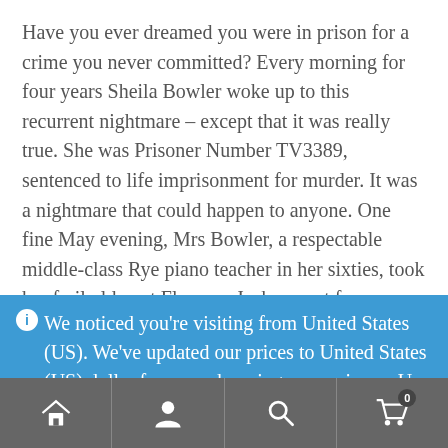Have you ever dreamed you were in prison for a crime you never committed? Every morning for four years Sheila Bowler woke up to this recurrent nightmare – except that it was really true. She was Prisoner Number TV3389, sentenced to life imprisonment for murder. It was a nightmare that could happen to anyone. One fine May evening, Mrs Bowler, a respectable middle-class Rye piano teacher in her sixties, took her frail old aunt Florence Jackson out from a residential home in Winchelsea for a pleasant drive through the Sussex countryside. On the way home her tyre went flat and she hurried off for help.
ℹ We noticed you're visiting from United States (US). We've updated our prices to United States (US) dollar for your shopping convenience. Use Pound sterling instead. Dismiss
[Figure (other): Bottom navigation bar with four icons: home, user/account, search, and shopping cart (with badge showing 0)]